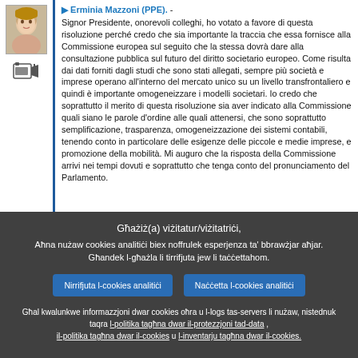[Figure (photo): Portrait photo of a woman (MEP Erminia Mazzoni) with light skin and hair, and a small video camera icon below]
Erminia Mazzoni (PPE). - Signor Presidente, onorevoli colleghi, ho votato a favore di questa risoluzione perché credo che sia importante la traccia che essa fornisce alla Commissione europea sul seguito che la stessa dovrà dare alla consultazione pubblica sul futuro del diritto societario europeo. Come risulta dai dati forniti dagli studi che sono stati allegati, sempre più società e imprese operano all'interno del mercato unico su un livello transfrontaliero e quindi è importante omogeneizzare i modelli societari. Io credo che soprattutto il merito di questa risoluzione sia aver indicato alla Commissione quali siano le parole d'ordine alle quali attenersi, che sono soprattutto semplificazione, trasparenza, omogeneizzazione dei sistemi contabili, tenendo conto in particolare delle esigenze delle piccole e medie imprese, e promozione della mobilità. Mi auguro che la risposta della Commissione arrivi nei tempi dovuti e soprattutto che tenga conto del pronunciamento del Parlamento.
Għażiż(a) viżitatur/viżitatriċi, Aħna nużaw cookies analitiċi biex noffrulek esperjenza ta' bbrawżjar aħjar. Għandek l-għażla li tirrifjuta jew li taċċettahom.
Nirrifjuta l-cookies analitiċi
Naċċetta l-cookies analitiċi
Għal kwalunkwe informazzjoni dwar cookies oħra u l-logs tas-servers li nużaw, nistednuk taqra l-politika tagħna dwar il-protezzjoni tad-data , il-politika tagħna dwar il-cookies u l-inventarju tagħna dwar il-cookies.